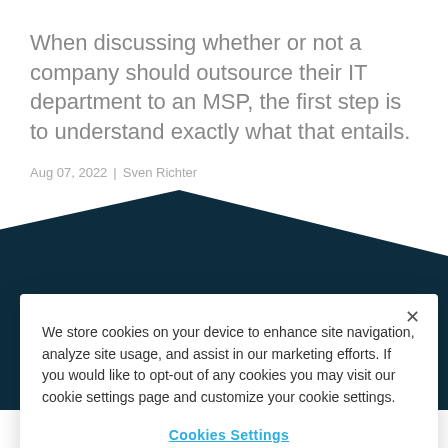When discussing whether or not a company should outsource their IT department to an MSP, the first step is to understand exactly what that entails.
Aug 07, 2022 | Sven Richter
[Figure (screenshot): Dark teal/navy diagonal banner background with a blue button partially visible]
We store cookies on your device to enhance site navigation, analyze site usage, and assist in our marketing efforts. If you would like to opt-out of any cookies you may visit our cookie settings page and customize your cookie settings.
Cookies Settings